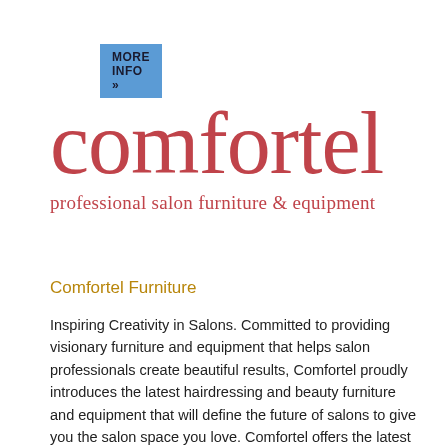MORE INFO »
[Figure (logo): Comfortel logo: large serif text 'comfortel' in dark red/rose color, with tagline 'professional salon furniture & equipment' below in matching color]
Comfortel Furniture
Inspiring Creativity in Salons. Committed to providing visionary furniture and equipment that helps salon professionals create beautiful results, Comfortel proudly introduces the latest hairdressing and beauty furniture and equipment that will define the future of salons to give you the salon space you love. Comfortel offers the latest trendsetting designs in hairdressing furniture; including salon